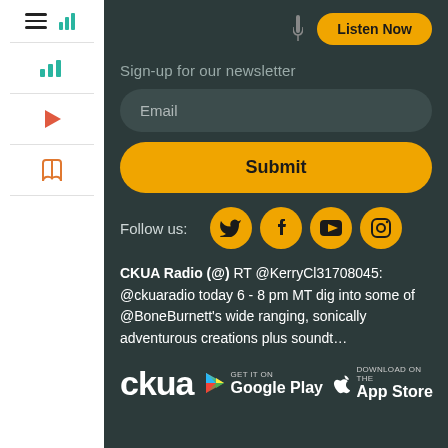Sign-up for our newsletter
Email
Submit
Follow us:
[Figure (illustration): Social media icons: Twitter, Facebook, YouTube, Instagram — gold circular buttons]
CKUA Radio (@) RT @KerryCl31708045: @ckuaradio today 6 - 8 pm MT dig into some of @BoneBurnett's wide ranging, sonically adventurous creations plus soundt…
[Figure (logo): CKUA logo, Google Play badge, App Store badge]
Listen Now